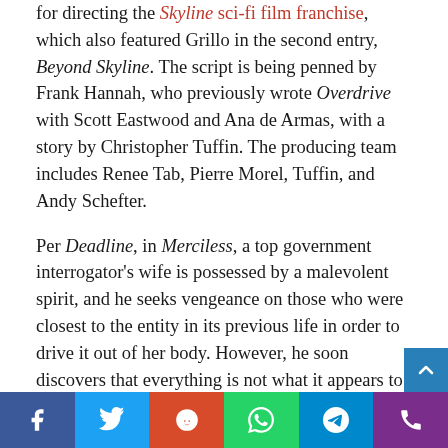for directing the Skyline sci-fi film franchise, which also featured Grillo in the second entry, Beyond Skyline. The script is being penned by Frank Hannah, who previously wrote Overdrive with Scott Eastwood and Ana de Armas, with a story by Christopher Tuffin. The producing team includes Renee Tab, Pierre Morel, Tuffin, and Andy Schefter.
Per Deadline, in Merciless, a top government interrogator's wife is possessed by a malevolent spirit, and he seeks vengeance on those who were closest to the entity in its previous life in order to drive it out of her body. However, he soon discovers that everything is not what it appears to be. Filming is reportedly set to commence on location in Alabama this summer. Sentient Pictures International recently shopp...